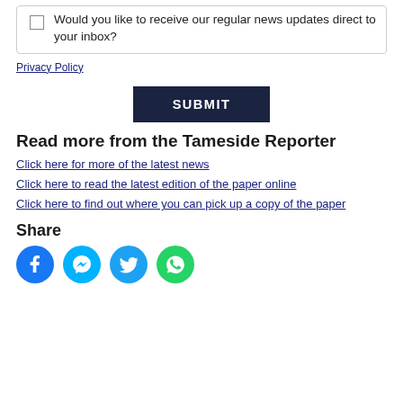Would you like to receive our regular news updates direct to your inbox?
Privacy Policy
SUBMIT
Read more from the Tameside Reporter
Click here for more of the latest news
Click here to read the latest edition of the paper online
Click here to find out where you can pick up a copy of the paper
Share
[Figure (infographic): Social media share icons: Facebook, Messenger, Twitter, WhatsApp]